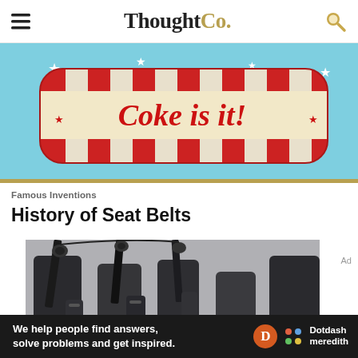ThoughtCo.
[Figure (photo): Coke is it! vintage Coca-Cola advertisement showing red and white stripes with stars and the text 'Coke is it!' on a rounded rectangular sign]
Famous Inventions
History of Seat Belts
[Figure (photo): Close-up photograph of black car seat belts and their buckles/mechanisms in vehicle seats]
We help people find answers, solve problems and get inspired. Dotdash meredith